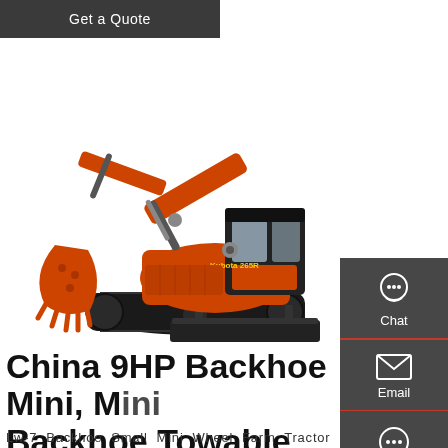Get a Quote
[Figure (photo): Orange mini excavator (Kubota-style) with boom arm extended, bucket at front, rubber tracks, and enclosed cab. White background product photo.]
China 9HP Backhoe Mini, Mini Backhoe Towable, Mini
Lw-7 Backhoe Small Mini Wheel Farm Tractor